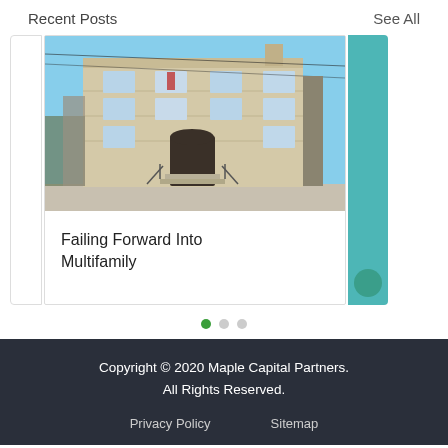Recent Posts
See All
[Figure (photo): A photograph of a multi-story tan brick apartment building with stairs and multiple windows, taken from street level on a clear day.]
Failing Forward Into Multifamily
Copyright © 2020 Maple Capital Partners. All Rights Reserved.
Privacy Policy   Sitemap